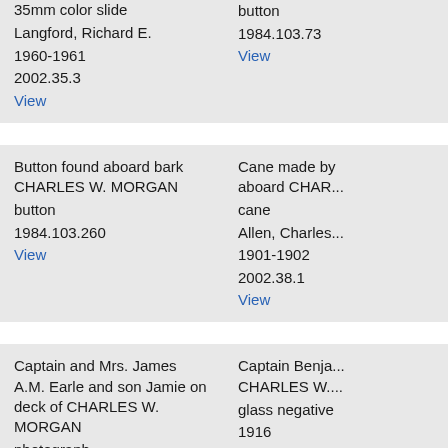35mm color slide
Langford, Richard E.
1960-1961
2002.35.3
View
button
1984.103.73
View
Button found aboard bark CHARLES W. MORGAN
button
1984.103.260
View
Cane made by... aboard CHAR...
cane
Allen, Charles...
1901-1902
2002.38.1
View
Captain and Mrs. James A.M. Earle and son Jamie on deck of CHARLES W. MORGAN
photograph
1973.899.231
View
Captain Benja... CHARLES W....
glass negative
1916
1994.53.96
View